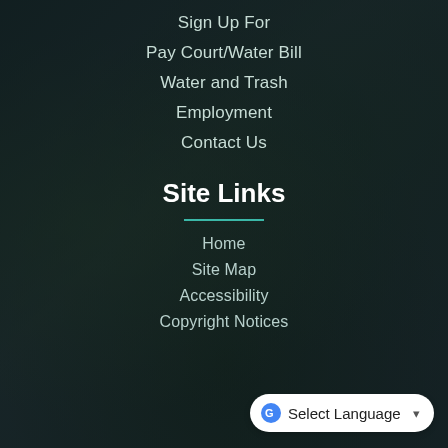Sign Up For
Pay Court/Water Bill
Water and Trash
Employment
Contact Us
Site Links
Home
Site Map
Accessibility
Copyright Notices
Select Language